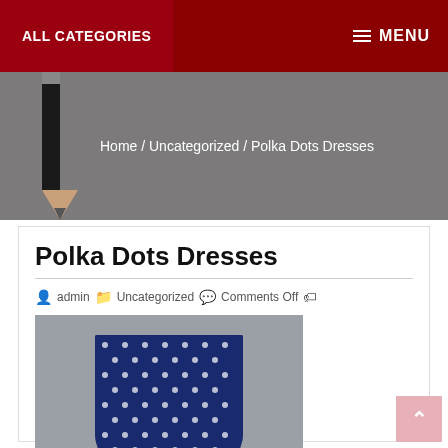ALL CATEGORIES   MENU
Home / Uncategorized / Polka Dots Dresses
Polka Dots Dresses
admin   Uncategorized   Comments Off
[Figure (photo): Woman in a navy blue polka dot dress standing outdoors]